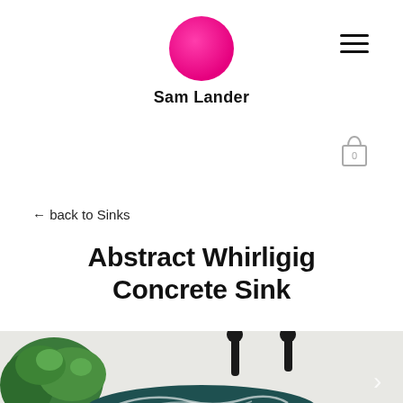[Figure (logo): Magenta/hot-pink circle logo for Sam Lander]
Sam Lander
[Figure (infographic): Hamburger menu icon (three horizontal lines)]
[Figure (infographic): Shopping cart icon with number 0]
← back to Sinks
Abstract Whirligig Concrete Sink
[Figure (photo): Partial photo of a concrete sink with dark green swirl pattern, black wall-mounted faucet taps, and green foliage on the left side]